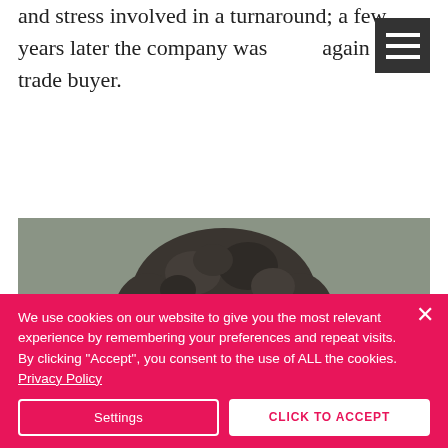and stress involved in a turnaround; a few years later the company was sold again to a trade buyer.
[Figure (photo): Portrait photo of an older man with curly grey hair and wire-rimmed glasses, photographed against a grey background, cropped to show head and upper face.]
We use cookies on our website to give you the most relevant experience by remembering your preferences and repeat visits. By clicking “Accept”, you consent to the use of ALL the cookies. Privacy Policy
Settings
CLICK TO ACCEPT